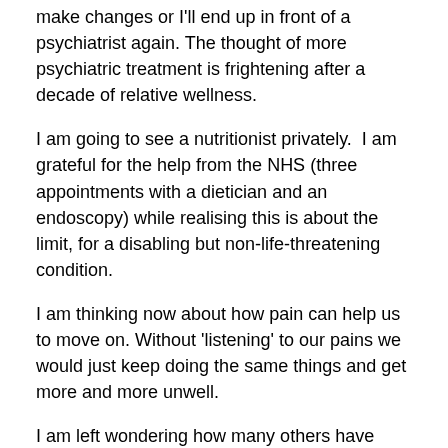make changes or I'll end up in front of a psychiatrist again. The thought of more psychiatric treatment is frightening after a decade of relative wellness.
I am going to see a nutritionist privately.  I am grateful for the help from the NHS (three appointments with a dietician and an endoscopy) while realising this is about the limit, for a disabling but non-life-threatening condition.
I am thinking now about how pain can help us to move on. Without 'listening' to our pains we would just keep doing the same things and get more and more unwell.
I am left wondering how many others have developed food intolerances after taking psychiatric drugs?
Please share your thoughts on how often there seems to be a link between drugs and long term digestive troubles.